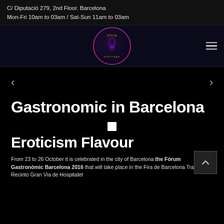C/ Diputació 279, 2nd Floor. Barcelona
Mon-Fri 10am to 03am / Sat-Sun 11am to 03am
[Figure (logo): Shiva Massage circular logo with purple border and stylized figure, golden text]
Gastronomic in Barcelona
Eroticism Flavour
From 23 to 26 October it is celebrated in the city of Barcelona the Fòrum Gastronòmic Barcelona 2016 that will take place in the Fira de Barcelona Trade Fair, Recinto Gran Via de Hospitalet